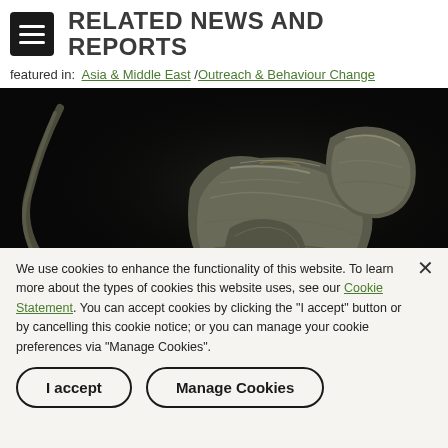RELATED NEWS AND REPORTS
featured in: Asia & Middle East / Outreach & Behaviour Change
[Figure (photo): Dark background photograph showing a sculpture or assemblage of what appears to be an elephant made from crumpled metallic or textured materials, against a black background.]
We use cookies to enhance the functionality of this website. To learn more about the types of cookies this website uses, see our Cookie Statement. You can accept cookies by clicking the "I accept" button or by cancelling this cookie notice; or you can manage your cookie preferences via "Manage Cookies".
I accept
Manage Cookies